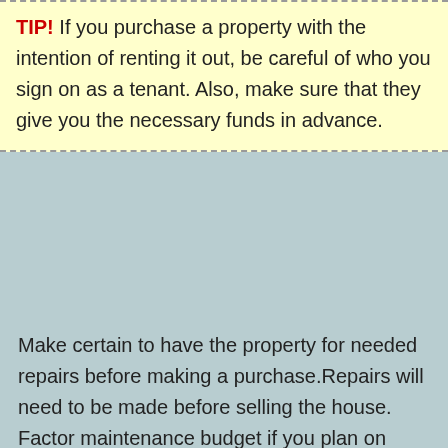TIP! If you purchase a property with the intention of renting it out, be careful of who you sign on as a tenant. Also, make sure that they give you the necessary funds in advance.
Make certain to have the property for needed repairs before making a purchase.Repairs will need to be made before selling the house. Factor maintenance budget if you plan on renting the property.
These different legalities are going to vary from town to town so it helps to know them in advance. Talk to local public officials to make